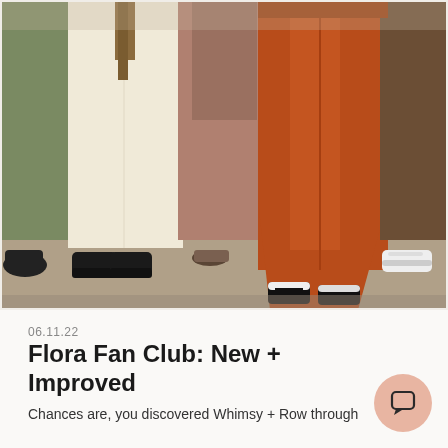[Figure (photo): Group of people standing together showing their lower bodies from waist down, wearing various wide-leg/flare pants in earth tones: olive green, cream/off-white, dusty rose/mauve, burnt orange/rust, and brown. Shoes visible include black loafers, sandals, black-and-white sneakers, and white sneakers. Outdoor setting on pavement.]
06.11.22
Flora Fan Club: New + Improved
Chances are, you discovered Whimsy + Row through